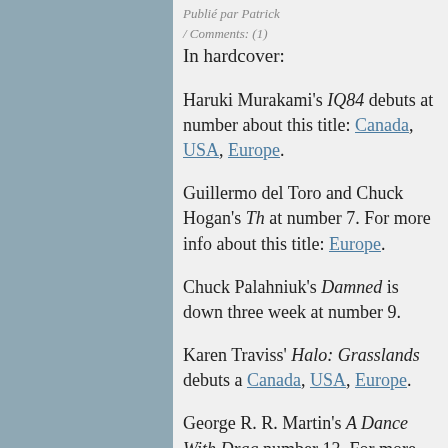Publié par Patrick / Comments: (1)
In hardcover:
Haruki Murakami's IQ84 debuts at number... about this title: Canada, USA, Europe.
Guillermo del Toro and Chuck Hogan's Th... at number 7. For more info about this title: Europe.
Chuck Palahniuk's Damned is down three... week at number 9.
Karen Traviss' Halo: Grasslands debuts a... Canada, USA, Europe.
George R. R. Martin's A Dance With Drag... number 13. For more info about this title:
Eric Morgan... The Night Ci...